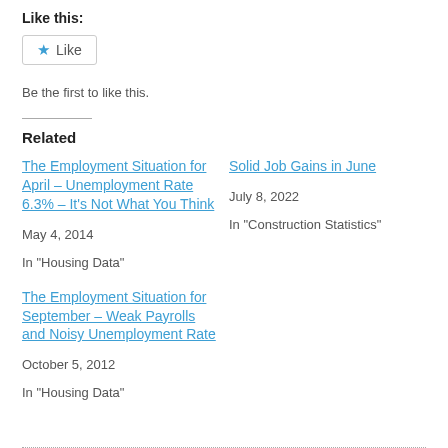Like this:
Like
Be the first to like this.
Related
The Employment Situation for April – Unemployment Rate 6.3% – It's Not What You Think
May 4, 2014
In "Housing Data"
Solid Job Gains in June
July 8, 2022
In "Construction Statistics"
The Employment Situation for September – Weak Payrolls and Noisy Unemployment Rate
October 5, 2012
In "Housing Data"